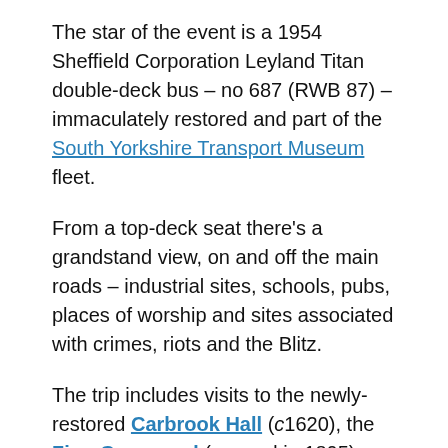The star of the event is a 1954 Sheffield Corporation Leyland Titan double-deck bus – no 687 (RWB 87) – immaculately restored and part of the South Yorkshire Transport Museum fleet.
From a top-deck seat there's a grandstand view, on and off the main roads – industrial sites, schools, pubs, places of worship and sites associated with crimes, riots and the Blitz.
The trip includes visits to the newly-restored Carbrook Hall (c1620), the Zion Graveyard (opened in 1805), and the English Institute of Sport (2003).
Riding in the sort of vehicle that replaced the trams in the 1950s is itself an experience, because buses have changed so much in half a century.
Colin Morton, who will be the driver, says that driving 687 is much more physically demanding than its 21st-century